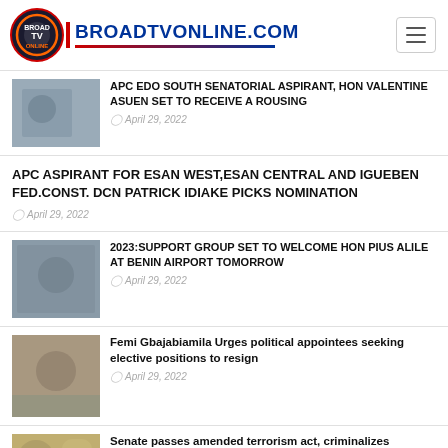BROADTVONLINE.COM
APC EDO SOUTH SENATORIAL ASPIRANT, HON VALENTINE ASUEN SET TO RECEIVE A ROUSING — April 29, 2022
APC ASPIRANT FOR ESAN WEST,ESAN CENTRAL AND IGUEBEN FED.CONST. DCN PATRICK IDIAKE PICKS NOMINATION — April 29, 2022
2023:SUPPORT GROUP SET TO WELCOME HON PIUS ALILE AT BENIN AIRPORT TOMORROW — April 29, 2022
Femi Gbajabiamila Urges political appointees seeking elective positions to resign — April 29, 2022
Senate passes amended terrorism act, criminalizes